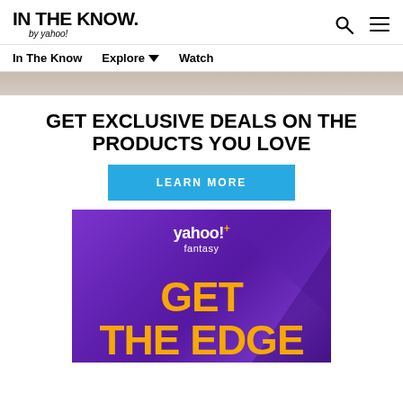IN THE KNOW. by yahoo!
In The Know  Explore ▾  Watch
[Figure (photo): Partial cropped hero image, light beige/cream colored background]
GET EXCLUSIVE DEALS ON THE PRODUCTS YOU LOVE
LEARN MORE
[Figure (advertisement): Yahoo!+ Fantasy purple advertisement banner showing 'GET THE EDGE' text in orange]